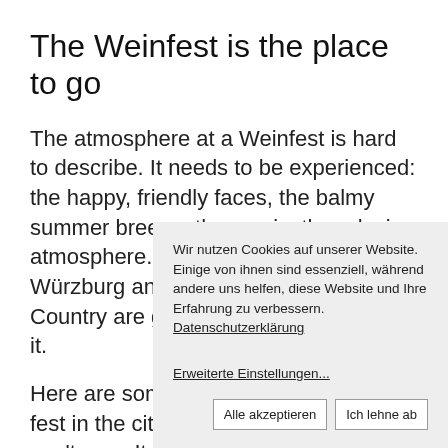The Weinfest is the place to go
The atmosphere at a Weinfest is hard to describe. It needs to be experienced: the happy, friendly faces, the balmy summer breeze, the music, the relaxing atmosphere. It’s just right. And Würzburg and the Franconian Wine Country are great places to experience it.
Here are some options for you: A wine fest in the city w a village o country s can’t go w It is not p but we w importan
Wir nutzen Cookies auf unserer Website. Einige von ihnen sind essenziell, während andere uns helfen, diese Website und Ihre Erfahrung zu verbessern. Datenschutzerklärung
Erweiterte Einstellungen...
Alle akzeptieren
Ich lehne ab